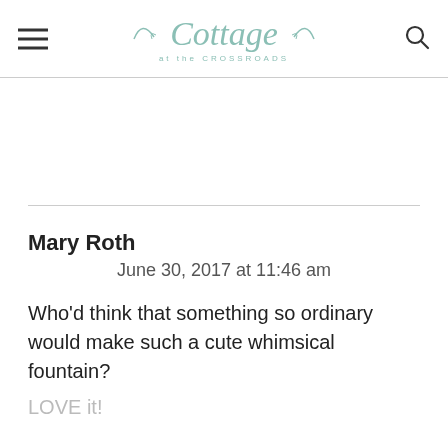Cottage at the Crossroads
Mary Roth
June 30, 2017 at 11:46 am
Who'd think that something so ordinary would make such a cute whimsical fountain?
LOVE it!